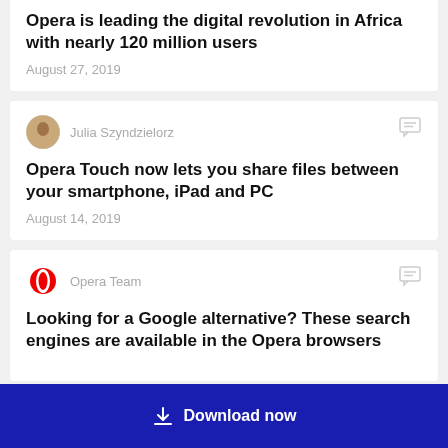Opera is leading the digital revolution in Africa with nearly 120 million users
August 27, 2019
Julia Szyndzielorz
Opera Touch now lets you share files between your smartphone, iPad and PC
August 14, 2019
Opera Team
Looking for a Google alternative? These search engines are available in the Opera browsers
Download now